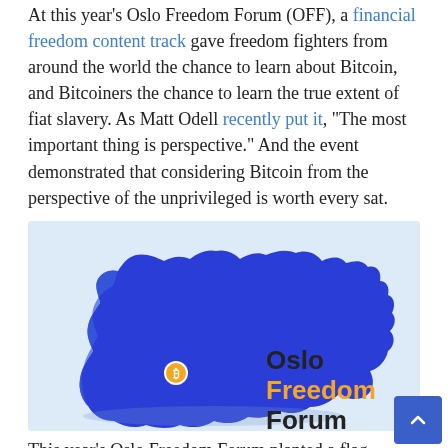At this year's Oslo Freedom Forum (OFF), a financial freedom content track gave freedom fighters from around the world the chance to learn about Bitcoin, and Bitcoiners the chance to learn the true extent of fiat slavery. As Matt Odell recently put it, “The most important thing is perspective.” And the event demonstrated that considering Bitcoin from the perspective of the unprivileged is worth every sat.
[Figure (illustration): 3D blue map of Norway with a small Bitcoin/orange coin marker near the south, with text 'Oslo Freedom Forum' beside it — 'Freedom' in orange, 'Oslo' and 'Forum' in black.]
This year’s Oslo Freedom Forum planted a flag